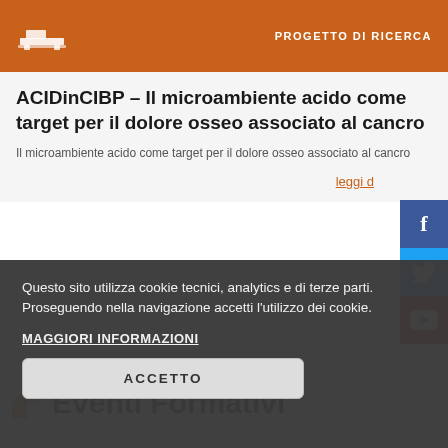PROGETTO DI RICERCA
ACIDinCIBP – Il microambiente acido come target per il dolore osseo associato al cancro
Il microambiente acido come target per il dolore osseo associato al cancro
leggi (più)
Eventi Formativi
Questo sito utilizza cookie tecnici, analytics e di terze parti. Proseguendo nella navigazione accetti l'utilizzo dei cookie.
MAGGIORI INFORMAZIONI
ACCETTO